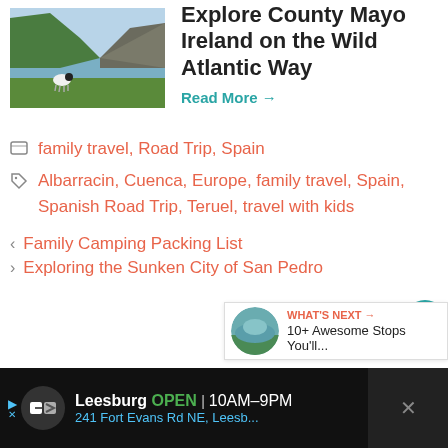[Figure (photo): Coastal cliff with sheep grazing near the sea, County Mayo Ireland]
Explore County Mayo Ireland on the Wild Atlantic Way
Read More →
family travel, Road Trip, Spain
Albarracin, Cuenca, Europe, family travel, Spain, Spanish Road Trip, Teruel, travel with kids
< Family Camping Packing List
> Exploring the Sunken City of San Pedro
[Figure (photo): What's Next thumbnail: scenic road/lake landscape]
WHAT'S NEXT → 10+ Awesome Stops You'll...
[Figure (infographic): Ad banner: Leesburg OPEN 10AM-9PM, 241 Fort Evans Rd NE, Leesb...]